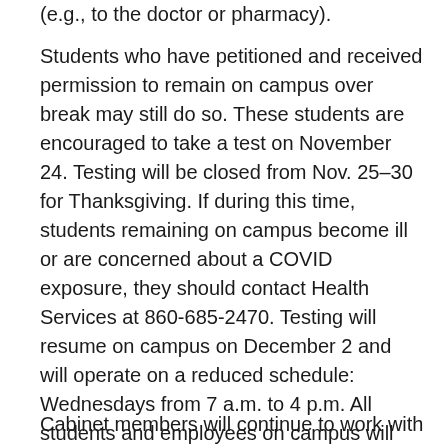(e.g., to the doctor or pharmacy).
Students who have petitioned and received permission to remain on campus over break may still do so. These students are encouraged to take a test on November 24. Testing will be closed from Nov. 25–30 for Thanksgiving. If during this time, students remaining on campus become ill or are concerned about a COVID exposure, they should contact Health Services at 860-685-2470. Testing will resume on campus on December 2 and will operate on a reduced schedule: Wednesdays from 7 a.m. to 4 p.m. All students and employees on campus will test once per week.
Cabinet members will continue to work with